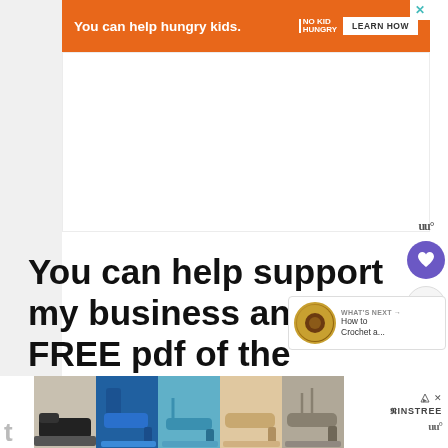[Figure (screenshot): Orange advertisement banner: 'You can help hungry kids.' with No Kid Hungry logo and LEARN HOW button]
[Figure (screenshot): White content area below ad banner (empty/whitespace)]
[Figure (screenshot): Sidebar icons: WW logo, purple heart button, share button]
You can help support my business and buy a FREE pdf of the sunflower crochet Square and How to crochet
[Figure (screenshot): What's Next panel showing sunflower crochet thumbnail with text 'How to Crochet a...']
[Figure (screenshot): Bottom strip of shoe thumbnail images with ad overlay showing Ninstree logo]